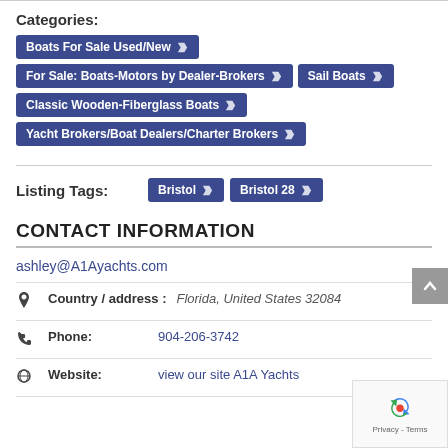Categories:
Boats For Sale Used/New
For Sale: Boats-Motors by Dealer-Brokers
Sail Boats
Classic Wooden-Fiberglass Boats
Yacht Brokers/Boat Dealers/Charter Brokers
Listing Tags:
Bristol
Bristol 28
CONTACT INFORMATION
ashley@A1Ayachts.com
Country / address : Florida, United States 32084
Phone: 904-206-3742
Website: view our site A1A Yachts